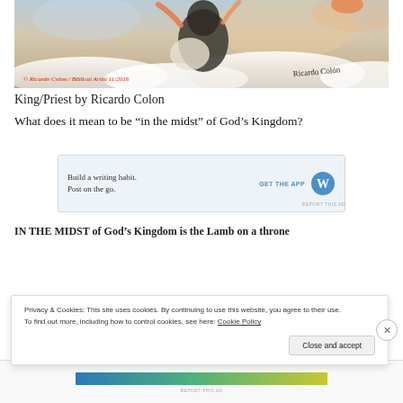[Figure (illustration): Painting by Ricardo Colon depicting a biblical scene with figures in clouds. Red copyright text reads '© Ricardo Colon / Biblical Artist 11/2016' and a cursive signature 'Ricardo Colon' at bottom right.]
King/Priest by Ricardo Colon
What does it mean to be “in the midst” of God’s Kingdom?
[Figure (screenshot): Advertisement banner: 'Build a writing habit. Post on the go.' with a 'GET THE APP' button and WordPress logo on blue background.]
REPORT THIS AD
IN THE MIDST of God’s Kingdom is the Lamb on a throne
Privacy & Cookies: This site uses cookies. By continuing to use this website, you agree to their use.
To find out more, including how to control cookies, see here: Cookie Policy
Close and accept